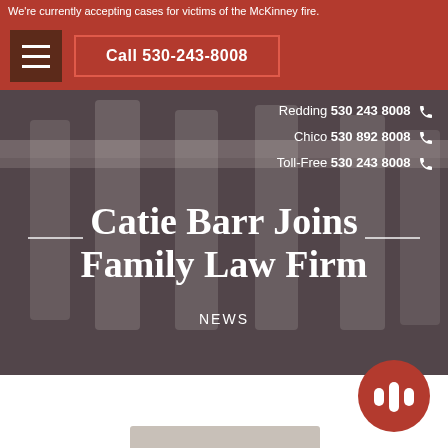We're currently accepting cases for victims of the McKinney fire.
Call 530-243-8008
Redding 530 243 8008
Chico 530 892 8008
Toll-Free 530 243 8008
Catie Barr Joins Family Law Firm
NEWS